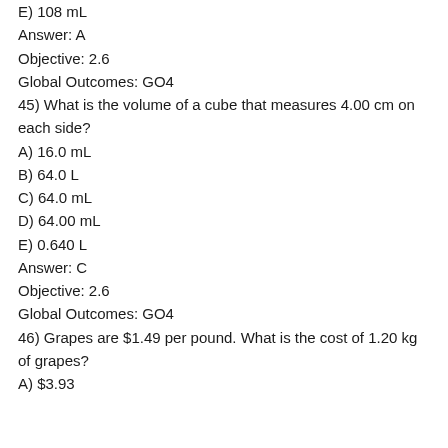E) 108 mL
Answer: A
Objective: 2.6
Global Outcomes: GO4
45) What is the volume of a cube that measures 4.00 cm on each side?
A) 16.0 mL
B) 64.0 L
C) 64.0 mL
D) 64.00 mL
E) 0.640 L
Answer: C
Objective: 2.6
Global Outcomes: GO4
46) Grapes are $1.49 per pound. What is the cost of 1.20 kg of grapes?
A) $3.93